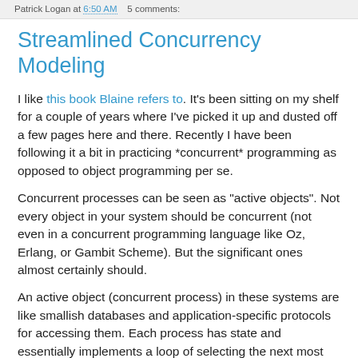Patrick Logan at 6:50 AM   5 comments:
Streamlined Concurrency Modeling
I like this book Blaine refers to. It's been sitting on my shelf for a couple of years where I've picked it up and dusted off a few pages here and there. Recently I have been following it a bit in practicing *concurrent* programming as opposed to object programming per se.
Concurrent processes can be seen as "active objects". Not every object in your system should be concurrent (not even in a concurrent programming language like Oz, Erlang, or Gambit Scheme). But the significant ones almost certainly should.
An active object (concurrent process) in these systems are like smallish databases and application-specific protocols for accessing them. Each process has state and essentially implements a loop of selecting the next most important message, interpreting it, and updating its state (its little possible consistent "database"). The process reacts to...